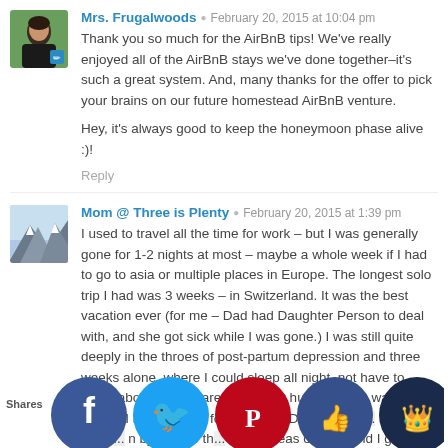Mrs. Frugalwoods  February 20, 2015 at 10:04 pm
Thank you so much for the AirBnB tips! We've really enjoyed all of the AirBnB stays we've done together–it's such a great system. And, many thanks for the offer to pick your brains on our future homestead AirBnB venture.

Hey, it's always good to keep the honeymoon phase alive :)!

Reply
Mom @ Three is Plenty  February 20, 2015 at 1:39 pm
I used to travel all the time for work – but I was generally gone for 1-2 nights at most – maybe a whole week if I had to go to asia or multiple places in Europe. The longest solo trip I had was 3 weeks – in Switzerland. It was the best vacation ever (for me – Dad had Daughter Person to deal with, and she got sick while I was gone.) I was still quite deeply in the throes of post-partum depression and three weeks alone, where I could sleep all night, not have to worry about taking care of another human being was great. Now, if I had to leave for that long, Dad would p... kill me... ake it... n by t... n to th... same areas of Sw...land I go... see this pa... October 🙂